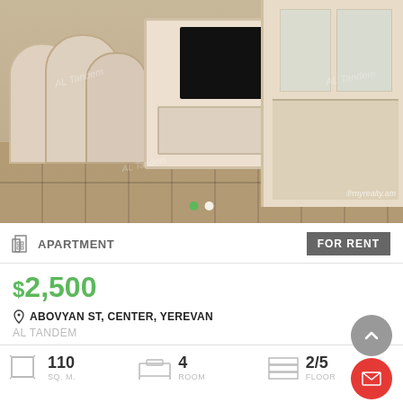[Figure (photo): Interior photo of an apartment room with ornate white baroque-style furniture, a flat-screen TV on a white TV unit, display cabinet, and tiled floor. Watermark 'AL Tandem' and 'myrealty.am' visible.]
APARTMENT
FOR RENT
$2,500
ABOVYAN ST, CENTER, YEREVAN
AL TANDEM
110 SQ. M.
4 ROOM
2/5 FLOOR